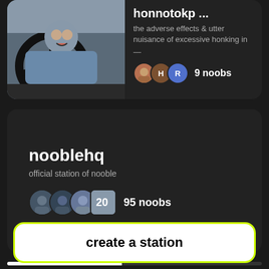[Figure (screenshot): Top card showing an angry man driving a car, with station title 'honnotokp ...' and description 'the adverse effects & utter nuisance of excessive honking in', with 9 noobs]
honnotokp ...
the adverse effects & utter nuisance of excessive honking in
9 noobs
nooblehq
official station of nooble
95 noobs
create a station